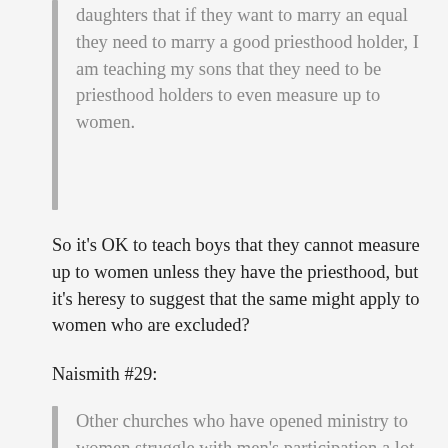daughters that if they want to marry an equal they need to marry a good priesthood holder, I am teaching my sons that they need to be priesthood holders to even measure up to women.
So it's OK to teach boys that they cannot measure up to women unless they have the priesthood, but it's heresy to suggest that the same might apply to women who are excluded?
Naismith #29:
Other churches who have opened ministry to women struggle with men's participation a lot.
I think Jack's stats show otherwise. Still, I'm of the opinion that the main reason for withholding priesthood from blacks was because too many people couldn't handle it and the church couldn't grow. Sincerely, if men